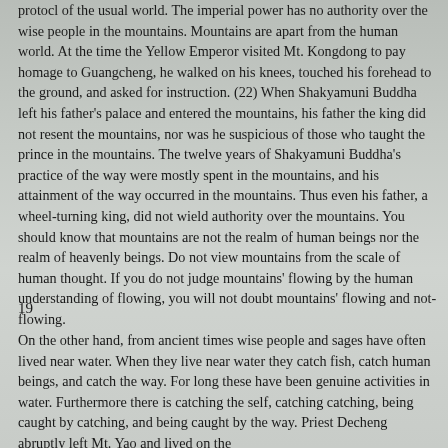protocl of the usual world. The imperial power has no authority over the wise people in the mountains. Mountains are apart from the human world. At the time the Yellow Emperor visited Mt. Kongdong to pay homage to Guangcheng, he walked on his knees, touched his forehead to the ground, and asked for instruction. (22) When Shakyamuni Buddha left his father's palace and entered the mountains, his father the king did not resent the mountains, nor was he suspicious of those who taught the prince in the mountains. The twelve years of Shakyamuni Buddha's practice of the way were mostly spent in the mountains, and his attainment of the way occurred in the mountains. Thus even his father, a wheel-turning king, did not wield authority over the mountains. You should know that mountains are not the realm of human beings nor the realm of heavenly beings. Do not view mountains from the scale of human thought. If you do not judge mountains' flowing by the human understanding of flowing, you will not doubt mountains' flowing and not-flowing.
19
On the other hand, from ancient times wise people and sages have often lived near water. When they live near water they catch fish, catch human beings, and catch the way. For long these have been genuine activities in water. Furthermore there is catching the self, catching catching, being caught by catching, and being caught by the way. Priest Decheng abruptly left Mt. Yao and lived on the